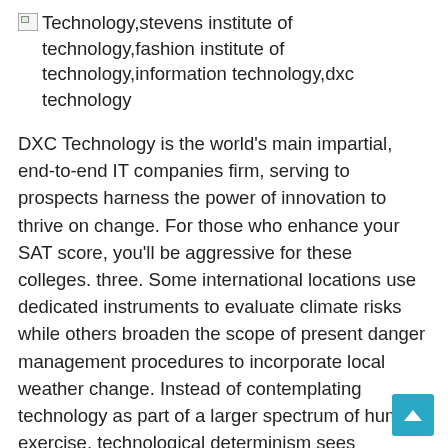[Figure (other): Broken image placeholder with alt text: Technology,stevens institute of technology,fashion institute of technology,information technology,dxc technology]
DXC Technology is the world's main impartial, end-to-end IT companies firm, serving to prospects harness the power of innovation to thrive on change. For those who enhance your SAT score, you'll be aggressive for these colleges. three. Some international locations use dedicated instruments to evaluate climate risks while others broaden the scope of present danger management procedures to incorporate local weather change. Instead of contemplating technology as part of a larger spectrum of human exercise, technological determinism sees technology as the basis for all human activity.